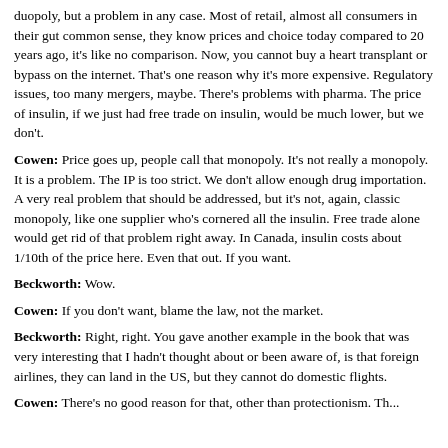duopoly, but a problem in any case. Most of retail, almost all consumers in their gut common sense, they know prices and choice today compared to 20 years ago, it's like no comparison. Now, you cannot buy a heart transplant or bypass on the internet. That's one reason why it's more expensive. Regulatory issues, too many mergers, maybe. There's problems with pharma. The price of insulin, if we just had free trade on insulin, would be much lower, but we don't.
Cowen: Price goes up, people call that monopoly. It's not really a monopoly. It is a problem. The IP is too strict. We don't allow enough drug importation. A very real problem that should be addressed, but it's not, again, classic monopoly, like one supplier who's cornered all the insulin. Free trade alone would get rid of that problem right away. In Canada, insulin costs about 1/10th of the price here. Even that out. If you want.
Beckworth: Wow.
Cowen: If you don't want, blame the law, not the market.
Beckworth: Right, right. You gave another example in the book that was very interesting that I hadn't thought about or been aware of, is that foreign airlines, they can land in the US, but they cannot do domestic flights.
Cowen: There's no good reason for that, other than protectionism. Th...